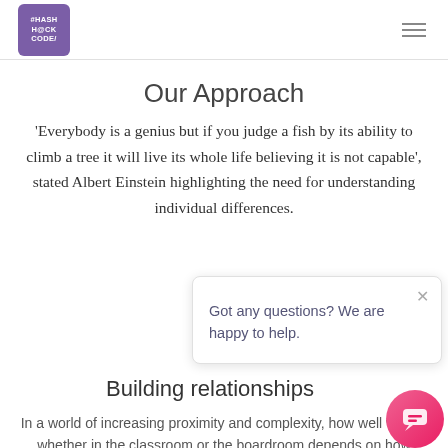#HASHH@CKCODE/
Our Approach
'Everybody is a genius but if you judge a fish by its ability to climb a tree it will live its whole life believing it is not capable', stated Albert Einstein highlighting the need for understanding individual differences.
[Figure (screenshot): Chat popup widget with close button and message: 'Got any questions? We are happy to help.']
Building relationships
In a world of increasing proximity and complexity, how well we do, whether in the classroom or the boardroom depends on how